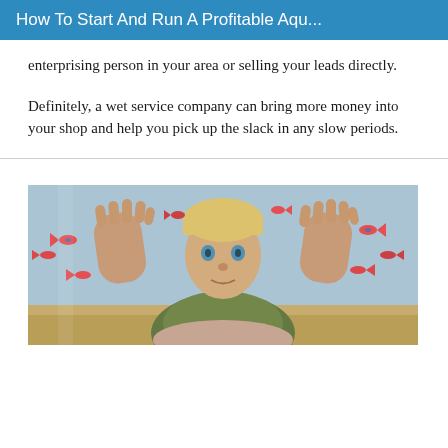How To Start And Run A Profitable Aqu...
enterprising person in your area or selling your leads directly.
Definitely, a wet service company can bring more money into your shop and help you pick up the slack in any slow periods.
[Figure (photo): A young child with blonde hair pressing both hands against an aquarium glass, with small colorful fish swimming around, and sandy substrate visible at the bottom.]